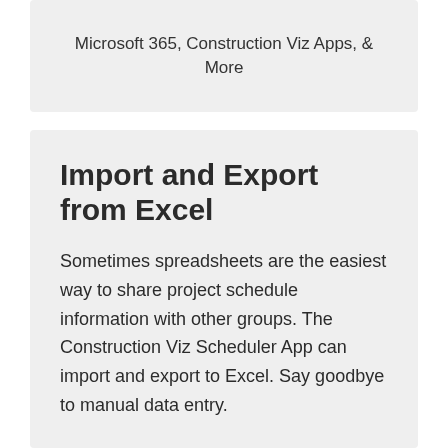Microsoft 365, Construction Viz Apps, & More
Import and Export from Excel
Sometimes spreadsheets are the easiest way to share project schedule information with other groups. The Construction Viz Scheduler App can import and export to Excel. Say goodbye to manual data entry.